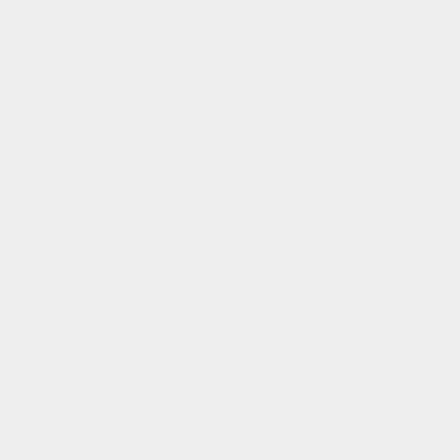| (col1) | (col2) | (col3) |
| --- | --- | --- |
|  | {{Inventory/Slot|index=1|title=Vial (Dimethyl Terephthalate)|image=Vessel_vial.png|link=Vial (Dimethyl Terephthalate)|amount=32}}{{Inventory/Slot|index=8|title=Bag (PolyEthylene Terephthalate te | {{Inventory/Slot|index=1|title=Vial (Dimethyl Terephthalate)|image=Vessel_vial.png|link=Vial (Dimethyl Terephthalate)|amount=32}}{{Inventory/Slot|index=8|title=Bag (PolyEthylene Terephthalate te |